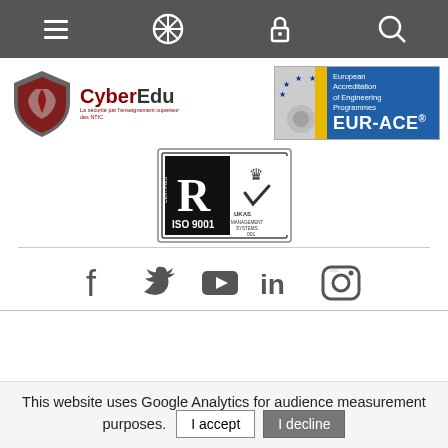[Figure (screenshot): Navigation bar with hamburger menu, compass, lock, and search icons on dark grey background]
[Figure (logo): CyberEdu logo with shield and text 'La sécurité par l'enseignement supérieur des NTIC']
[Figure (logo): EUR-ACE European Accreditation of Engineering Programmes logo with EU stars and gear]
[Figure (logo): LR ISO 9001 certified UKAS Management Systems badge]
[Figure (logo): Social media icons: Facebook, Twitter, YouTube, LinkedIn, Instagram]
This website uses Google Analytics for audience measurement purposes.
I accept
I decline